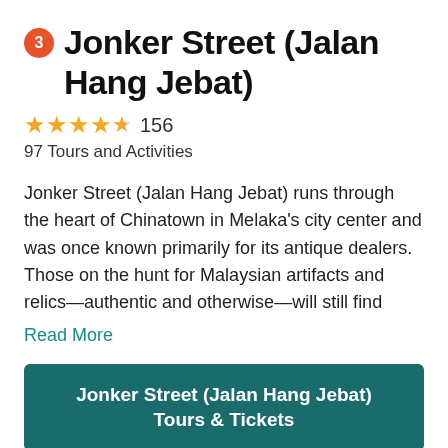3 Jonker Street (Jalan Hang Jebat)
★★★★½ 156
97 Tours and Activities
Jonker Street (Jalan Hang Jebat) runs through the heart of Chinatown in Melaka's city center and was once known primarily for its antique dealers. Those on the hunt for Malaysian artifacts and relics—authentic and otherwise—will still find
Read More
Jonker Street (Jalan Hang Jebat) Tours & Tickets